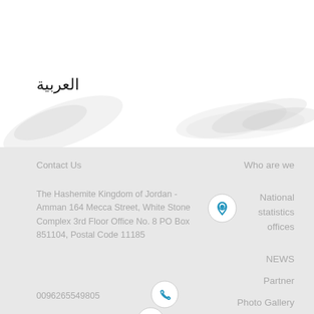العربية
[Figure (illustration): Decorative leaf/feather shapes in light gray as background decoration]
Contact Us
The Hashemite Kingdom of Jordan - Amman 164 Mecca Street, White Stone Complex 3rd Floor Office No. 8 PO Box 851104, Postal Code 11185
[Figure (illustration): Location pin icon in a circle]
0096265549805
[Figure (illustration): Phone icon in a circle]
[Figure (illustration): Email/envelope icon in a circle (partially visible)]
Who are we
National statistics offices
NEWS
Partner
Photo Gallery